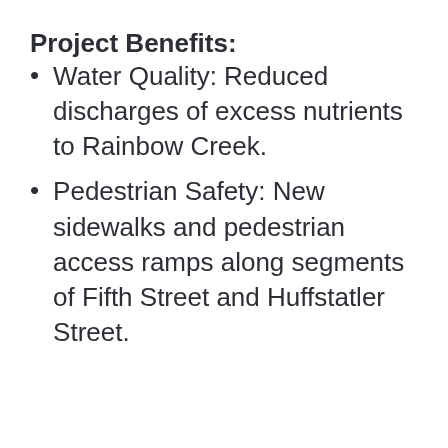Project Benefits:
Water Quality: Reduced discharges of excess nutrients to Rainbow Creek.
Pedestrian Safety: New sidewalks and pedestrian access ramps along segments of Fifth Street and Huffstatler Street.